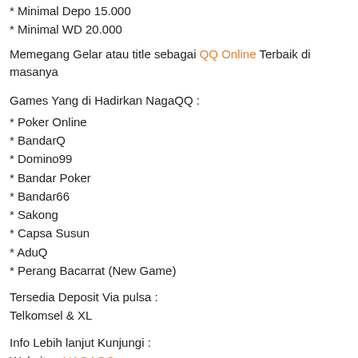* Minimal Depo 15.000
* Minimal WD 20.000
Memegang Gelar atau title sebagai QQ Online Terbaik di masanya
Games Yang di Hadirkan NagaQQ :
* Poker Online
* BandarQ
* Domino99
* Bandar Poker
* Bandar66
* Sakong
* Capsa Susun
* AduQ
* Perang Bacarrat (New Game)
Tersedia Deposit Via pulsa :
Telkomsel & XL
Info Lebih lanjut Kunjungi :
Website : NAGAQQ
Facebook : NagaQQ Official